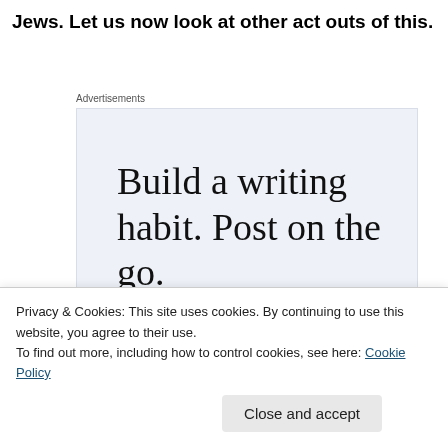Jews. Let us now look at other act outs of this.
Advertisements
[Figure (screenshot): WordPress advertisement: 'Build a writing habit. Post on the go.' with GET THE APP call to action and WordPress logo]
Privacy & Cookies: This site uses cookies. By continuing to use this website, you agree to their use.
To find out more, including how to control cookies, see here: Cookie Policy
Close and accept